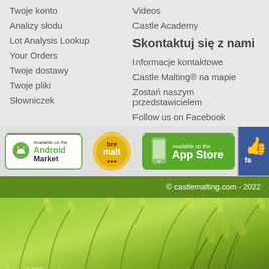Twoje konto
Analizy słodu
Lot Analysis Lookup
Your Orders
Twoje dostawy
Twoje pliki
Słowniczek
Videos
Castle Academy
Skontaktuj się z nami
Informacje kontaktowe
Castle Malting® na mapie
Zostań naszym przedstawicielem
Follow us on Facebook
[Figure (infographic): Banner row with Android Market button, BrewMalt logo, App Store button, and Facebook partial button]
© castlemalting.com - 2022
[Figure (photo): Close-up photo of green barley or wheat grass stalks]
(Libra 0.925 sec.)